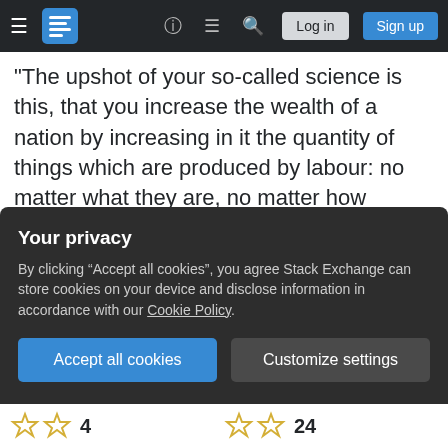Stack Exchange navigation bar with hamburger menu, logo, help, chat, search, Log in, Sign up
"The upshot of your so-called science is this, that you increase the wealth of a nation by increasing in it the quantity of things which are produced by labour: no matter what they are, no matter how produced, no matter how distributed. [...] Now, I say, if this be so, riches are not the object for a community to aim at. I say, the nation is best off, in relation to other nations, which has the greatest quantity of the common necessaries of life distributed among the greatest number of persons; which has the greatest number of honest hearts and stout arms united in a common interest, willing to offend no one, but ready to fight in defence of their own community against all the
Your privacy
By clicking "Accept all cookies", you agree Stack Exchange can store cookies on your device and disclose information in accordance with our Cookie Policy.
Accept all cookies    Customize settings
4   24